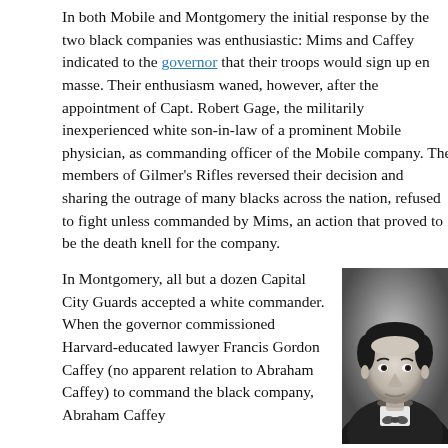In both Mobile and Montgomery the initial response by the two black companies was enthusiastic: Mims and Caffey indicated to the governor that their troops would sign up en masse. Their enthusiasm waned, however, after the appointment of Capt. Robert Gage, the militarily inexperienced white son-in-law of a prominent Mobile physician, as commanding officer of the Mobile company. The members of Gilmer's Rifles reversed their decision and sharing the outrage of many blacks across the nation, refused to fight unless commanded by Mims, an action that proved to be the death knell for the company.
In Montgomery, all but a dozen Capital City Guards accepted a white commander. When the governor commissioned Harvard-educated lawyer Francis Gordon Caffey (no apparent relation to Abraham Caffey) to command the black company, Abraham Caffey
[Figure (photo): Black and white portrait photograph of a man in a suit and bow tie, looking slightly upward, with short dark hair, against a plain background.]